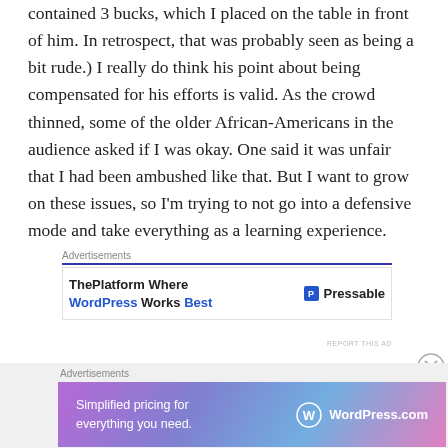contained 3 bucks, which I placed on the table in front of him. In retrospect, that was probably seen as being a bit rude.) I really do think his point about being compensated for his efforts is valid. As the crowd thinned, some of the older African-Americans in the audience asked if I was okay. One said it was unfair that I had been ambushed like that. But I want to grow on these issues, so I'm trying to not go into a defensive mode and take everything as a learning experience.
Advertisements
[Figure (infographic): Advertisement banner: ThePlatform Where WordPress Works Best | Pressable logo]
REPORT THIS AD
Advertisements
[Figure (infographic): Advertisement banner with gradient background: Simplified pricing for everything you need. WordPress.com logo]